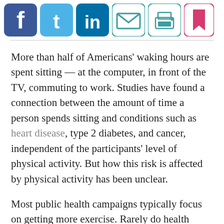[Figure (other): Row of social media sharing icons: Facebook (blue), Twitter (light blue), LinkedIn (dark blue), Email (teal envelope), Print (teal printer), Bookmark (pink/red)]
More than half of Americans' waking hours are spent sitting — at the computer, in front of the TV, commuting to work. Studies have found a connection between the amount of time a person spends sitting and conditions such as heart disease, type 2 diabetes, and cancer, independent of the participants' level of physical activity. But how this risk is affected by physical activity has been unclear.
Most public health campaigns typically focus on getting more exercise. Rarely do health initiatives